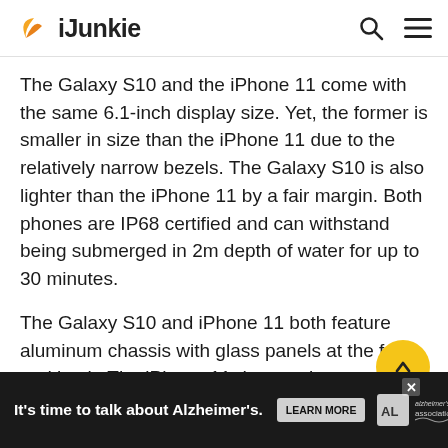iJunkie
The Galaxy S10 and the iPhone 11 come with the same 6.1-inch display size. Yet, the former is smaller in size than the iPhone 11 due to the relatively narrow bezels. The Galaxy S10 is also lighter than the iPhone 11 by a fair margin. Both phones are IP68 certified and can withstand being submerged in 2m depth of water for up to 30 minutes.
The Galaxy S10 and iPhone 11 both feature aluminum chassis with glass panels at the front and back. The iPhone 11 does make use of a single piece of glass at the rear while the Galaxy S...
[Figure (other): Alzheimer's association advertisement banner: 'It's time to talk about Alzheimer's.' with Learn More button and Alzheimer's Association logo]